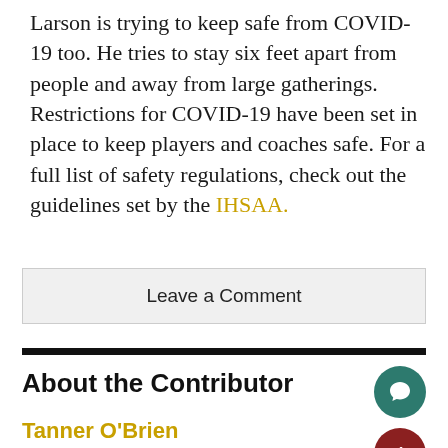Larson is trying to keep safe from COVID-19 too. He tries to stay six feet apart from people and away from large gatherings. Restrictions for COVID-19 have been set in place to keep players and coaches safe. For a full list of safety regulations, check out the guidelines set by the IHSAA.
Leave a Comment
About the Contributor
Tanner O'Brien